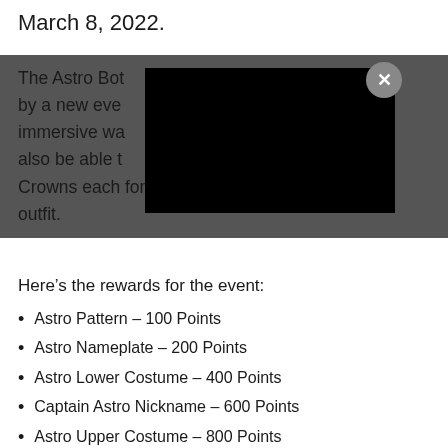March 8, 2022.
The Astro Bot [obscured] accompanied by a new eve[obscured]ers 'new and immersive wa[obscured]tro Bot, you'll also be able t[obscured]will cost five Crowns each for the top and bottom parts of the outfit.
Here’s the rewards for the event:
Astro Pattern – 100 Points
Astro Nameplate – 200 Points
Astro Lower Costume – 400 Points
Captain Astro Nickname – 600 Points
Astro Upper Costume – 800 Points